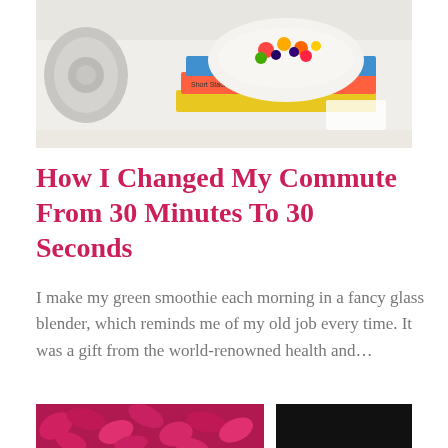[Figure (photo): Photo of a white bowl of colorful fruit salad with berries sitting on top of stacked cookbooks on a white desk with a rotary phone in the background]
How I Changed My Commute From 30 Minutes To 30 Seconds
I make my green smoothie each morning in a fancy glass blender, which reminds me of my old job every time. It was a gift from the world-renowned health and…
[Figure (photo): Photo of bright pink/magenta flower petals]
[Figure (photo): Dark/black image, partially visible]